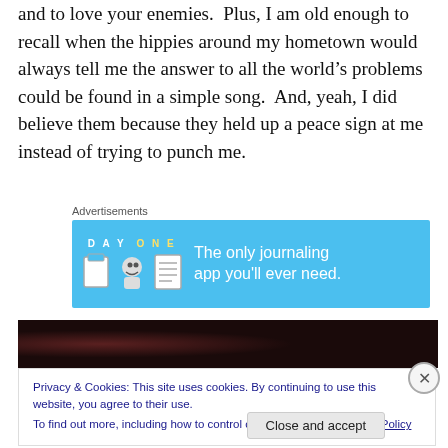and to love your enemies.  Plus, I am old enough to recall when the hippies around my hometown would always tell me the answer to all the world’s problems could be found in a simple song.  And, yeah, I did believe them because they held up a peace sign at me instead of trying to punch me.
Advertisements
[Figure (other): Day One journaling app advertisement banner on blue background with icons and text: 'The only journaling app you’ll ever need.']
[Figure (photo): Dark photo strip showing colorful balloons against a dark background]
Privacy & Cookies: This site uses cookies. By continuing to use this website, you agree to their use.
To find out more, including how to control cookies, see here: Cookie Policy